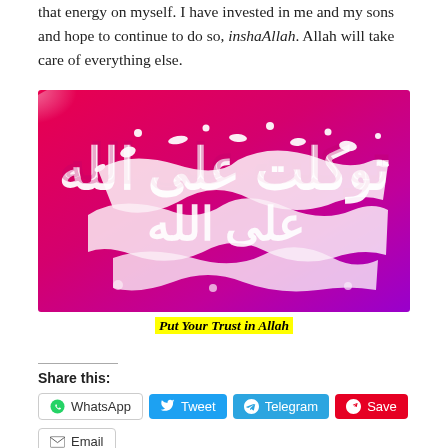that energy on myself. I have invested in me and my sons and hope to continue to do so, inshaAllah. Allah will take care of everything else.
[Figure (illustration): Arabic calligraphy on a pink-to-purple gradient background reading 'Tawakkaltu ala Allah' (I put my trust in Allah) in white decorative script]
Put Your Trust in Allah
Share this:
WhatsApp
Tweet
Telegram
Save
Email